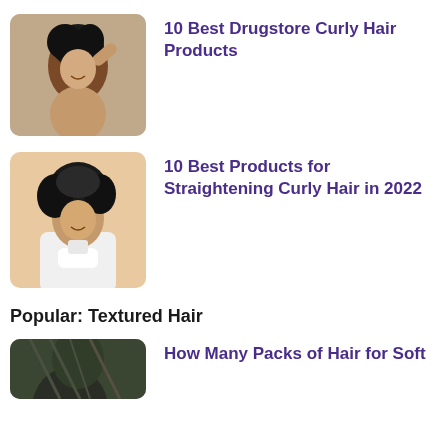[Figure (photo): Woman with curly hair touching her head, grey/neutral background]
10 Best Drugstore Curly Hair Products
[Figure (photo): Woman with curly hair applying lotion, peach background]
10 Best Products for Straightening Curly Hair in 2022
Popular: Textured Hair
[Figure (photo): Person with textured hair, partially visible]
How Many Packs of Hair for Soft